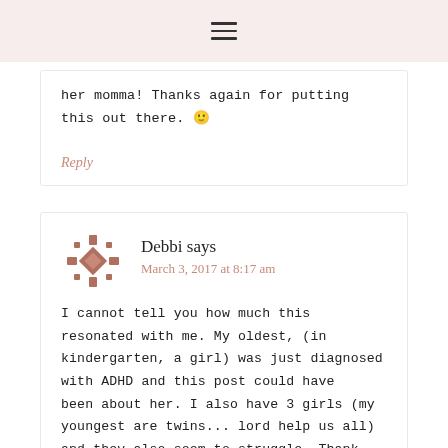≡
her momma! Thanks again for putting this out there. 🙂
Reply
Debbi says
March 3, 2017 at 8:17 am
I cannot tell you how much this resonated with me. My oldest, (in kindergarten, a girl) was just diagnosed with ADHD and this post could have been about her. I also have 3 girls (my youngest are twins... lord help us all) and they also seem to struggle. Thank